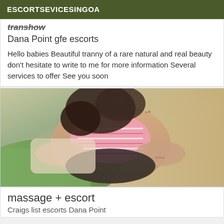ESCORTSEVICESINGOA
transhow
Dana Point gfe escorts
Hello babies Beautiful tranny of a rare natural and real beauty don't hesitate to write to me for more information Several services to offer See you soon
[Figure (photo): Photo of a person lying down wearing a pink and white striped top with tattoos visible]
massage + escort
Craigs list escorts Dana Point